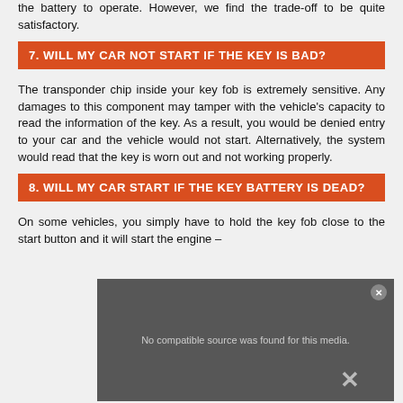the battery to operate. However, we find the trade-off to be quite satisfactory.
7. WILL MY CAR NOT START IF THE KEY IS BAD?
The transponder chip inside your key fob is extremely sensitive. Any damages to this component may tamper with the vehicle's capacity to read the information of the key. As a result, you would be denied entry to your car and the vehicle would not start. Alternatively, the system would read that the key is worn out and not working properly.
8. WILL MY CAR START IF THE KEY BATTERY IS DEAD?
On some vehicles, you simply have to hold the key fob close to the start button and it will start the engine –
[Figure (screenshot): Video overlay showing 'No compatible source was found for this media.' message with a close button and X mark]